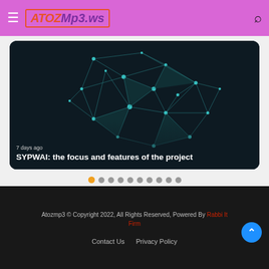AtozMp3.ws
[Figure (screenshot): Hero card with neural network brain illustration on dark background, with text '7 days ago' and title 'SYPWAI: the focus and features of the project']
7 days ago
SYPWAI: the focus and features of the project
[Figure (infographic): Carousel dot navigation: 10 dots, first dot is orange/gold, rest are grey]
Atozmp3 © Copyright 2022, All Rights Reserved, Powered By Rabbi It Firm
Contact Us   Privacy Policy